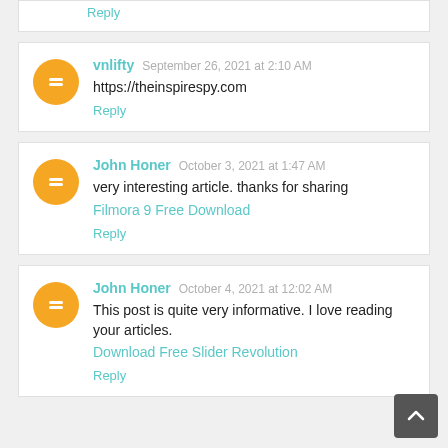Reply
vnlifty  September 26, 2021 at 2:10 AM
https://theinspirespy.com
Reply
John Honer  October 3, 2021 at 1:47 AM
very interesting article. thanks for sharing
Filmora 9 Free Download
Reply
John Honer  October 4, 2021 at 12:02 AM
This post is quite very informative. I love reading your articles.
Download Free Slider Revolution
Reply